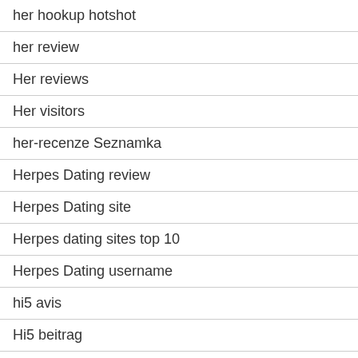her hookup hotshot
her review
Her reviews
Her visitors
her-recenze Seznamka
Herpes Dating review
Herpes Dating site
Herpes dating sites top 10
Herpes Dating username
hi5 avis
Hi5 beitrag
hi5 login
hialeah escort